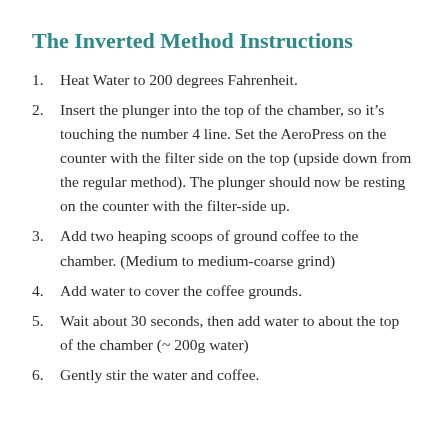The Inverted Method Instructions
Heat Water to 200 degrees Fahrenheit.
Insert the plunger into the top of the chamber, so it’s touching the number 4 line. Set the AeroPress on the counter with the filter side on the top (upside down from the regular method). The plunger should now be resting on the counter with the filter-side up.
Add two heaping scoops of ground coffee to the chamber. (Medium to medium-coarse grind)
Add water to cover the coffee grounds.
Wait about 30 seconds, then add water to about the top of the chamber (~ 200g water)
Gently stir the water and coffee.